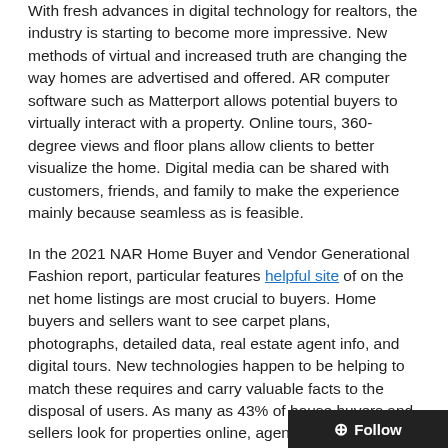With fresh advances in digital technology for realtors, the industry is starting to become more impressive. New methods of virtual and increased truth are changing the way homes are advertised and offered. AR computer software such as Matterport allows potential buyers to virtually interact with a property. Online tours, 360-degree views and floor plans allow clients to better visualize the home. Digital media can be shared with customers, friends, and family to make the experience mainly because seamless as is feasible.
In the 2021 NAR Home Buyer and Vendor Generational Fashion report, particular features helpful site of on the net home listings are most crucial to buyers. Home buyers and sellers want to see carpet plans, photographs, detailed data, real estate agent info, and digital tours. New technologies happen to be helping to match these requires and carry valuable facts to the disposal of users. As many as 43% of house buyers and sellers look for properties online, agents must be equipped to maintain these movements.
AI-powered chatbots can reduces costs of the selling and buying process. AI-powered robots will start conve...